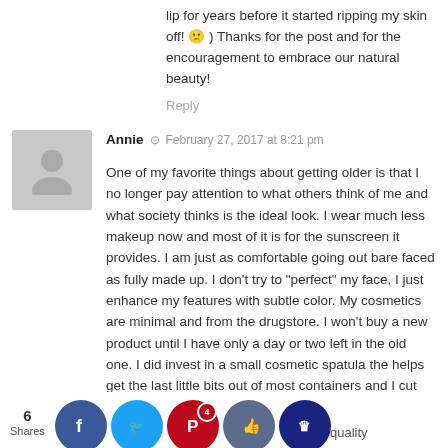lip for years before it started ripping my skin off! 🙁 ) Thanks for the post and for the encouragement to embrace our natural beauty!
Reply
Annie  ⊙  February 27, 2017 at 8:21 pm
One of my favorite things about getting older is that I no longer pay attention to what others think of me and what society thinks is the ideal look. I wear much less makeup now and most of it is for the sunscreen it provides. I am just as comfortable going out bare faced as fully made up. I don't try to "perfect" my face, I just enhance my features with subtle color. My cosmetics are minimal and from the drugstore. I won't buy a new product until I have only a day or two left in the old one. I did invest in a small cosmetic spatula the helps get the last little bits out of most containers and I cut open tubes whenever possible. My tinted moisturizer often has at least a weeks' worth of applications that won't squeeze out after a certain poi...
6 Shares